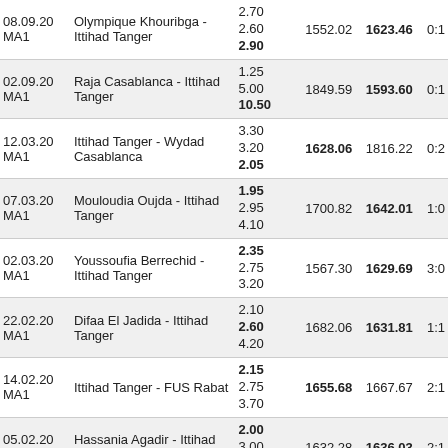| Date | Match | Odds | R1 | R2 | Score |
| --- | --- | --- | --- | --- | --- |
| 08.09.20
MA1 | Olympique Khouribga - Ittihad Tanger | 2.70
2.60
2.90 | 1552.02 | 1623.46 | 0:1 |
| 02.09.20
MA1 | Raja Casablanca - Ittihad Tanger | 1.25
5.00
10.50 | 1849.59 | 1593.60 | 0:1 |
| 12.03.20
MA1 | Ittihad Tanger - Wydad Casablanca | 3.30
3.20
2.05 | 1628.06 | 1816.22 | 0:2 |
| 07.03.20
MA1 | Mouloudia Oujda - Ittihad Tanger | 1.95
2.95
4.10 | 1700.82 | 1642.01 | 1:0 |
| 02.03.20
MA1 | Youssoufia Berrechid - Ittihad Tanger | 2.35
2.75
3.20 | 1567.30 | 1629.69 | 3:0 |
| 22.02.20
MA1 | Difaa El Jadida - Ittihad Tanger | 2.10
2.60
4.20 | 1682.06 | 1631.81 | 1:1 |
| 14.02.20
MA1 | Ittihad Tanger - FUS Rabat | 2.15
2.75
3.70 | 1655.68 | 1667.67 | 2:1 |
| 05.02.20
MA1 | Hassania Agadir - Ittihad Tanger | 2.00
3.00
3.75 | 1632.28 | 1636.03 | 2:1 |
| 31.01.20
MA1 | Ittihad Tanger - Rapide Oued Zem | 1.83
2.95
4.60 | 1635.23 | 1579.74 | 0:0 |
| 23.01.20 | Ittihad Tanger - Olympique Safi | 2.30
2.55 | 1637.24 | 1671.66 | 1:2 |